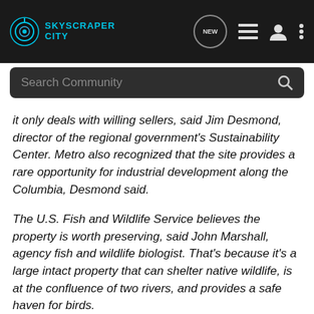SkyscraperCity — Search Community
it only deals with willing sellers, said Jim Desmond, director of the regional government's Sustainability Center. Metro also recognized that the site provides a rare opportunity for industrial development along the Columbia, Desmond said.
The U.S. Fish and Wildlife Service believes the property is worth preserving, said John Marshall, agency fish and wildlife biologist. That's because it's a large intact property that can shelter native wildlife, is at the confluence of two rivers, and provides a safe haven for birds.
The federal agency assigns ratings of 1 to 4 for natural areas, with 1 being the highest rating, reserved for unique sites where there is no good way to mitigate the impact of development.
"In different times, you actuallyhibit between 1 and 3...